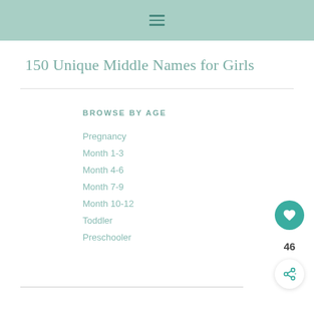☰
150 Unique Middle Names for Girls
BROWSE BY AGE
Pregnancy
Month 1-3
Month 4-6
Month 7-9
Month 10-12
Toddler
Preschooler